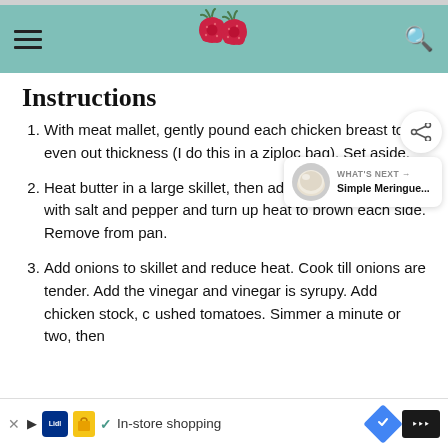Recipe site header with hamburger menu, raspberry logo, and search icon
Instructions
With meat mallet, gently pound each chicken breast to even out thickness (I do this in a ziploc bag). Set aside.
Heat butter in a large skillet, then add chicken. Sprinkle with salt and pepper and turn up heat to brown each side. Remove from pan.
Add onions to skillet and reduce heat. Cook till onions are tender. Add the vinegar and vinegar is syrupy. Add chicken stock, crushed tomatoes. Simmer a minute or two, then
In-store shopping (advertisement)